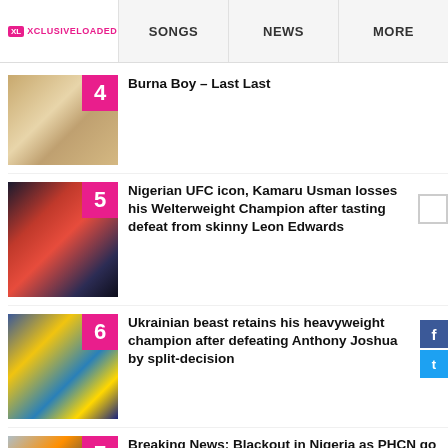XL XCLUSIVELOADED | SONGS | NEWS | MORE
4 Burna Boy – Last Last
5 Nigerian UFC icon, Kamaru Usman losses his Welterweight Champion after tasting defeat from skinny Leon Edwards
6 Ukrainian beast retains his heavyweight champion after defeating Anthony Joshua by split-decision
7 Breaking News: Blackout in Nigeria as PHCN go for an indefinite strike